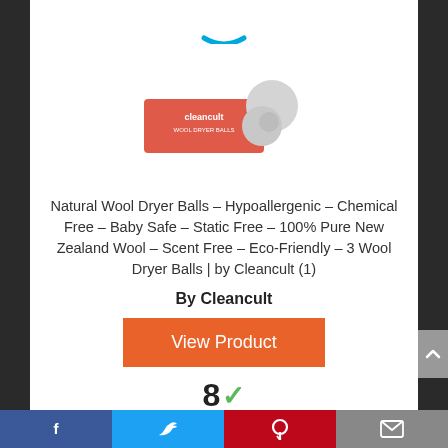[Figure (logo): Amazon logo partial arc in blue at top]
[Figure (photo): Cleancult Natural Wool Dryer Balls product image — pink/red box with two wool ball figures]
Natural Wool Dryer Balls – Hypoallergenic – Chemical Free – Baby Safe – Static Free – 100% Pure New Zealand Wool – Scent Free – Eco-Friendly – 3 Wool Dryer Balls | by Cleancult (1)
By Cleancult
View Product
8
Facebook  Twitter  Pinterest  Mail